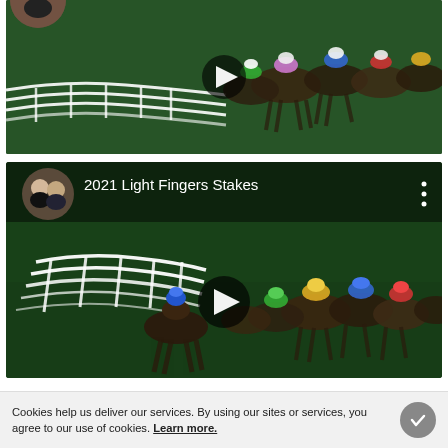[Figure (screenshot): Video thumbnail of a horse race with a play button overlay. Shows multiple jockeys racing on a green track. No visible title bar.]
[Figure (screenshot): YouTube video thumbnail titled '2021 Light Fingers Stakes'. Shows a horse race on a green track at night with multiple jockeys. Channel avatar shows two people. Play button in center. Three-dot menu icon at top right.]
Cookies help us deliver our services. By using our sites or services, you agree to our use of cookies. Learn more.